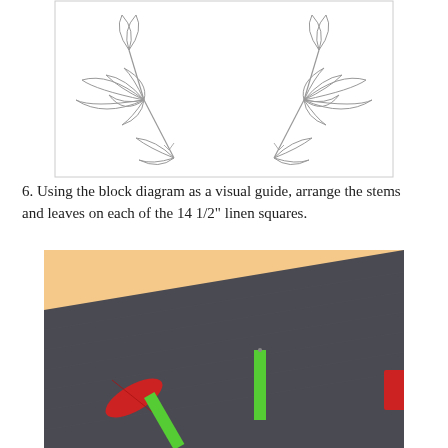[Figure (illustration): Line drawing template showing two mirrored leaf branch arrangements — each branch has multiple elongated leaf shapes radiating from a central stem, shown as outlines on a white background.]
6. Using the block diagram as a visual guide, arrange the stems and leaves on each of the 14 1/2" linen squares.
[Figure (photo): Photograph of a dark charcoal-colored linen fabric square on a cream/peach surface, with a red leaf-shaped fabric piece and bright green rectangular fabric strips arranged on top, resembling a stem-and-leaf appliqué layout.]